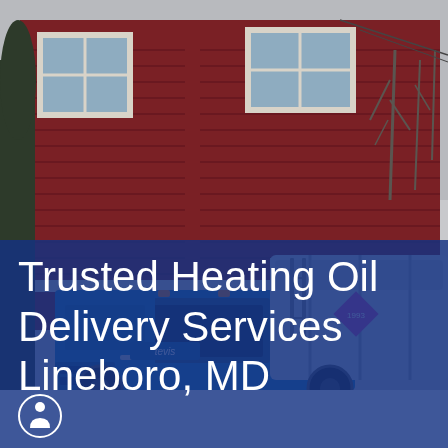[Figure (photo): A blue heating oil delivery truck (branded 'Tevis') parked in front of a two-story red house with white-trimmed windows on an overcast winter day. Bare trees are visible on the right side. The truck's silver tank is visible. A semi-transparent dark blue banner overlays the lower portion of the image.]
Trusted Heating Oil Delivery Services Lineboro, MD